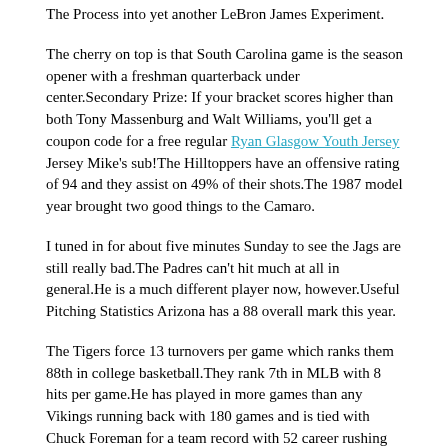The Process into yet another LeBron James Experiment.
The cherry on top is that South Carolina game is the season opener with a freshman quarterback under center.Secondary Prize: If your bracket scores higher than both Tony Massenburg and Walt Williams, you'll get a coupon code for a free regular Ryan Glasgow Youth Jersey Jersey Mike's sub!The Hilltoppers have an offensive rating of 94 and they assist on 49% of their shots.The 1987 model year brought two good things to the Camaro.
I tuned in for about five minutes Sunday to see the Jags are still really bad.The Padres can't hit much at all in general.He is a much different player now, however.Useful Pitching Statistics Arizona has a 88 overall mark this year.
The Tigers force 13 turnovers per game which ranks them 88th in college basketball.They rank 7th in MLB with 8 hits per game.He has played in more games than any Vikings running back with 180 games and is tied with Chuck Foreman for a team record with 52 career rushing TDs.In turn, this has placed sport — one of the fastest-growing commercial sectors in the western world — in the crosshairs of organized crime.Joey Barton, who was charged with betting on games